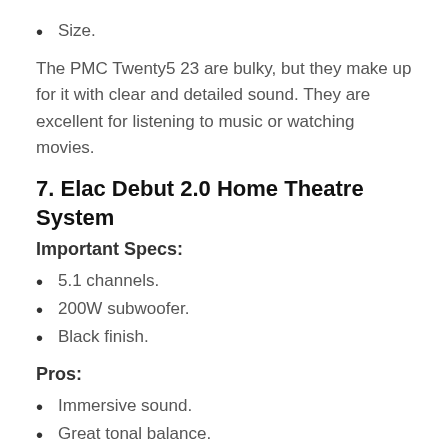Size.
The PMC Twenty5 23 are bulky, but they make up for it with clear and detailed sound. They are excellent for listening to music or watching movies.
7. Elac Debut 2.0 Home Theatre System
Important Specs:
5.1 channels.
200W subwoofer.
Black finish.
Pros:
Immersive sound.
Great tonal balance.
Clear sound.